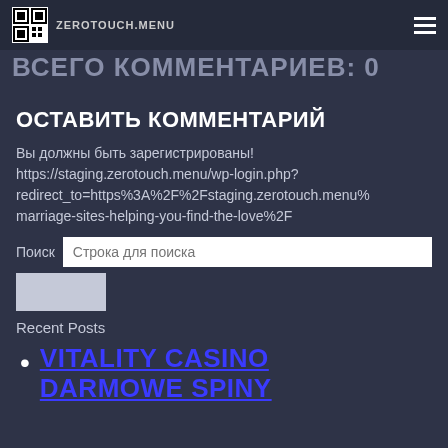ZEROTOUCH.MENU
ВСЕГО КОММЕНТАРИЕВ: 0
ОСТАВИТЬ КОММЕНТАРИЙ
Вы должны быть зарегистрированы! https://staging.zerotouch.menu/wp-login.php?redirect_to=https%3A%2F%2Fstaging.zerotouch.menu%marriage-sites-helping-you-find-the-love%2F
Поиск  Строка для поиска
Recent Posts
VITALITY CASINO DARMOWE SPINY